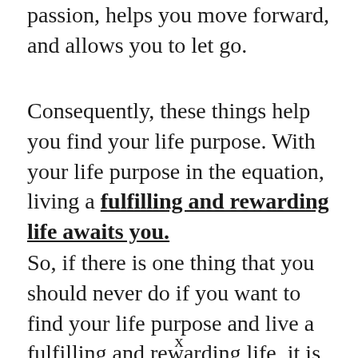passion, helps you move forward, and allows you to let go.
Consequently, these things help you find your life purpose. With your life purpose in the equation, living a fulfilling and rewarding life awaits you.
So, if there is one thing that you should never do if you want to find your life purpose and live a fulfilling and rewarding life, it is totally
x